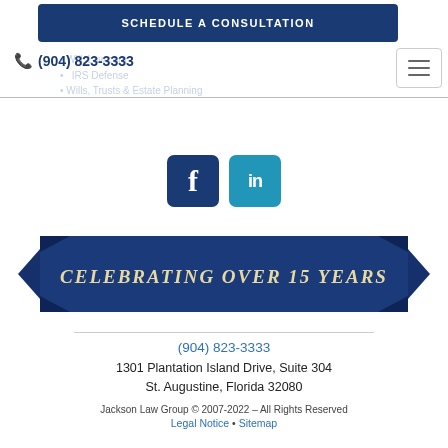SCHEDULE A CONSULTATION
(904) 823-3333
[Figure (illustration): Social media icons: Facebook (dark blue square with 'f') and LinkedIn (light blue square with 'in')]
[Figure (illustration): Dark blue ribbon banner with white serif text: CELEBRATING OVER 15 YEARS]
(904) 823-3333
1301 Plantation Island Drive, Suite 304
St. Augustine, Florida 32080
Jackson Law Group © 2007-2022 – All Rights Reserved
Legal Notice • Sitemap